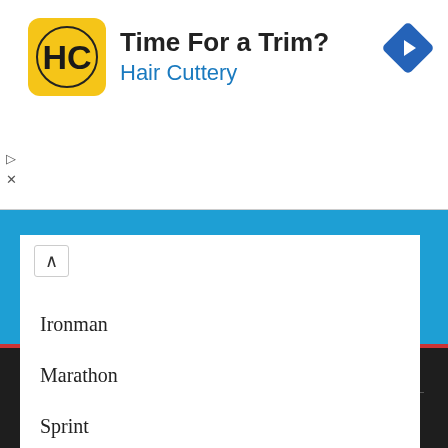[Figure (screenshot): Hair Cuttery advertisement banner with yellow HC logo, text 'Time For a Trim?' and 'Hair Cuttery' in blue, and a blue navigation diamond icon in top right.]
Ironman
Marathon
Sprint
Triathlon